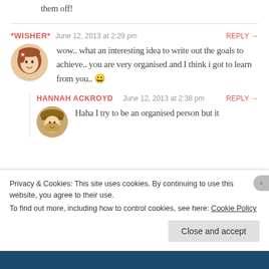them off!
*WISHER*  June 12, 2013 at 2:29 pm  REPLY →
wow.. what an interesting idea to write out the goals to achieve.. you are very organised and I think i got to learn from you.. 😀
HANNAH ACKROYD  June 12, 2013 at 2:38 pm  REPLY →
Haha I try to be an organised person but it
Privacy & Cookies: This site uses cookies. By continuing to use this website, you agree to their use.
To find out more, including how to control cookies, see here: Cookie Policy
Close and accept